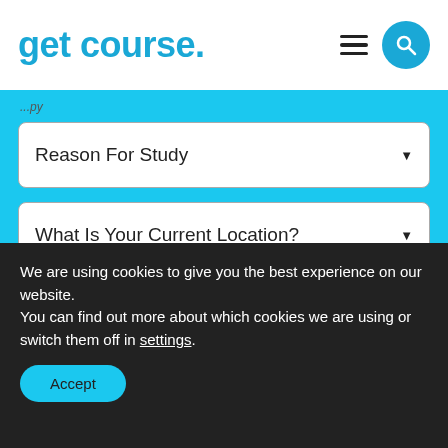[Figure (logo): get course. logo in bold cyan/blue text with a period]
[Figure (screenshot): Hamburger menu icon (three horizontal lines) and circular cyan search button with magnifying glass]
Reason For Study
What Is Your Current Location?
SUBMIT
We are using cookies to give you the best experience on our website.
You can find out more about which cookies we are using or switch them off in settings.
Accept